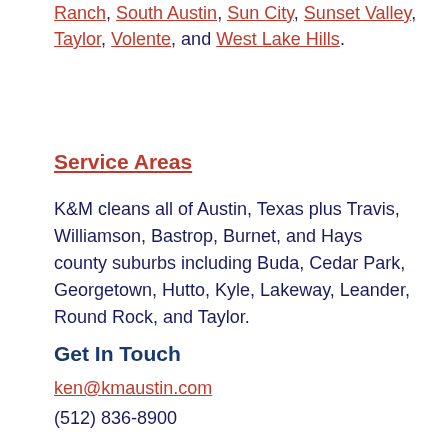Ranch, South Austin, Sun City, Sunset Valley, Taylor, Volente, and West Lake Hills.
Service Areas
K&M cleans all of Austin, Texas plus Travis, Williamson, Bastrop, Burnet, and Hays county suburbs including Buda, Cedar Park, Georgetown, Hutto, Kyle, Lakeway, Leander, Round Rock, and Taylor.
Get In Touch
ken@kmaustin.com
(512) 836-8900